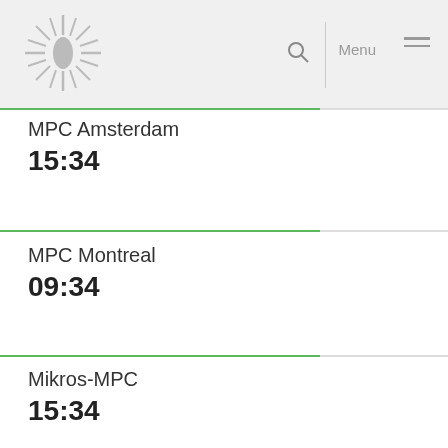MPC logo | Search | Menu
MPC Amsterdam
15:34
MPC Montreal
09:34
Mikros-MPC
15:34